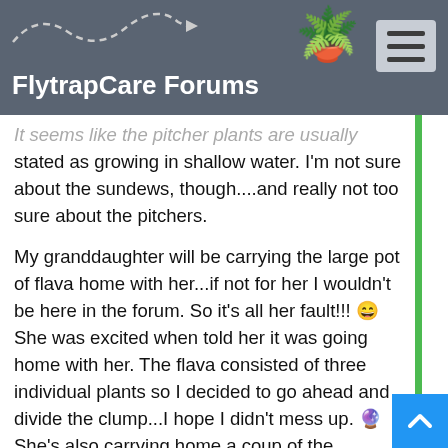FlytrapCare Forums
It seems like the pitcher plants are usually stated as growing in shallow water. I'm not sure about the sundews, though....and really not too sure about the pitchers.
My granddaughter will be carrying the large pot of flava home with her...if not for her I wouldn't be here in the forum. So it's all her fault!!! 😄 She was excited when told her it was going home with her. The flava consisted of three individual plants so I decided to go ahead and divide the clump...I hope I didn't mess up. 🔮 She's also carrying home a couple of the sundews. 😄